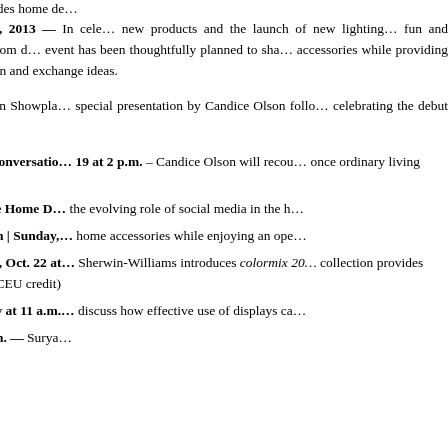Dynamic line up of events includes home de...
CALHOUN, Ga. — Sept. 26, 2013 — In cele... new products and the launch of new lighting... fun and informative events at its showroom d... event has been thoughtfully planned to sha... accessories while providing market participa... which to learn and exchange ideas.
Surya's event line up kicks off in Showpla... special presentation by Candice Olson follo... celebrating the debut of the company's fall c...
Coordinating a Room: A Conversatio... 19 at 2 p.m. – Candice Olson will recou... once ordinary living spaces into rooms th...
Social Media Success in the Home D... the evolving role of social media in the h...
Fall Showroom Celebration | Sunday,... home accessories while enjoying an ope...
Colormix™ 2014 | Tuesday, Oct. 22 at... Sherwin-Williams introduces colormix 20... collection provides design professionals... (0.1 CEU credit)
Merchandising Tour | Daily at 11 a.m.... discuss how effective use of displays ca...
Trend Walk | Daily at 1 p.m. — Surya...